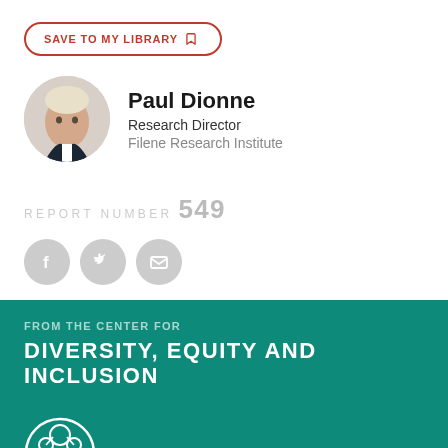SAVE TO MY LIBRARY
Paul Dionne
Research Director
Filene Research Institute
REPORT NUMBER 549
[Figure (infographic): Three social sharing icons in grey circles: Facebook, Twitter, and Email/envelope]
FROM THE CENTER FOR
DIVERSITY, EQUITY AND INCLUSION
[Figure (illustration): Partial white circular DEI icon/logo at bottom of teal section]